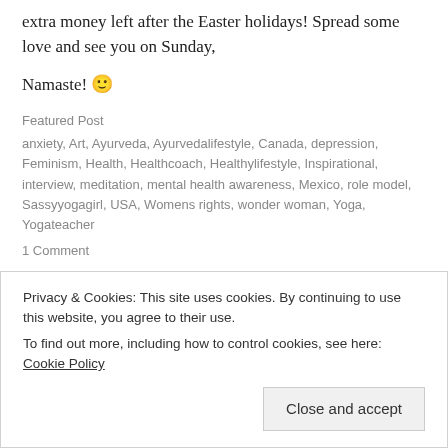extra money left after the Easter holidays! Spread some love and see you on Sunday,
Namaste! 🙂
Featured Post
anxiety, Art, Ayurveda, Ayurvedalifestyle, Canada, depression, Feminism, Health, Healthcoach, Healthylifestyle, Inspirational, interview, meditation, mental health awareness, Mexico, role model, Sassyyogagirl, USA, Womens rights, wonder woman, Yoga, Yogateacher
1 Comment
Privacy & Cookies: This site uses cookies. By continuing to use this website, you agree to their use.
To find out more, including how to control cookies, see here: Cookie Policy